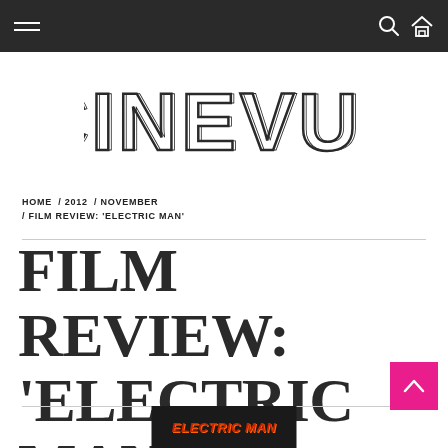CINEVUE navigation bar
CINEVUE
HOME / 2012 / NOVEMBER / FILM REVIEW: 'ELECTRIC MAN'
FILM REVIEW: 'ELECTRIC MAN'
[Figure (screenshot): Bottom strip showing Electric Man movie title card in red italic text on dark background]